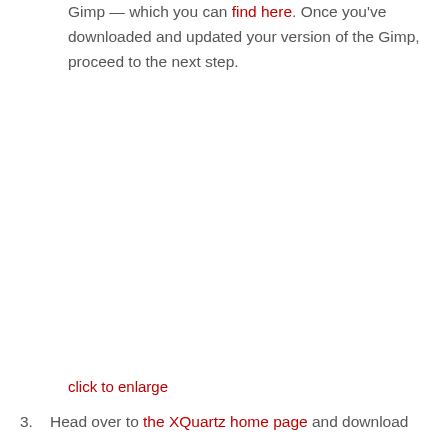Gimp— which you can find here. Once you've downloaded and updated your version of the Gimp, proceed to the next step.
click to enlarge
3. Head over to the XQuartz home page and download